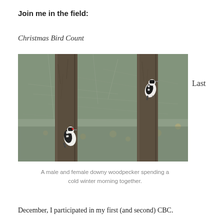Join me in the field:
Christmas Bird Count
[Figure (photo): A photo of two downy woodpeckers (male and female) clinging to tree trunks in a winter woodland scene with bare branches and some dried leaves.]
Last
A male and female downy woodpecker spending a cold winter morning together.
December, I participated in my first (and second) CBC.